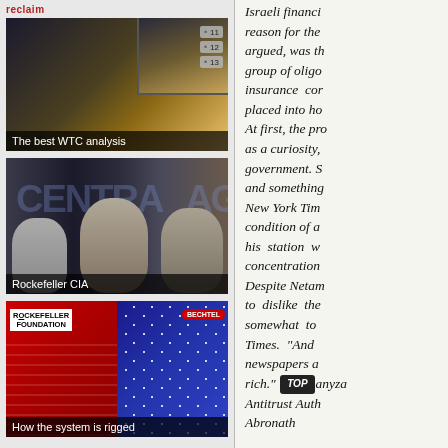reclaim
[Figure (photo): Screenshot of a video thumbnail titled 'The best WTC analysis' showing World Trade Center imagery with numbered annotations (11, 12, 13)]
[Figure (photo): Photo of three men in black and white labeled 'Rockefeller CIA' with CIA logo background]
[Figure (photo): Illustrated graphic labeled 'How the system is rigged' showing Rockefeller Foundation and Bechtel logos with political caricatures on red and blue American flag backgrounds]
Israeli financi... reason for the... argued, was th... group of oligo... insurance cor... placed into ho... At first, the pro... as a curiosity,... government. S... and something... New York Tim... condition of a... his station w... concentration... Despite Netam... to dislike the... somewhat to... Times. "And... newspapers a... rich." anyza... Antitrust Auth... Abronath...